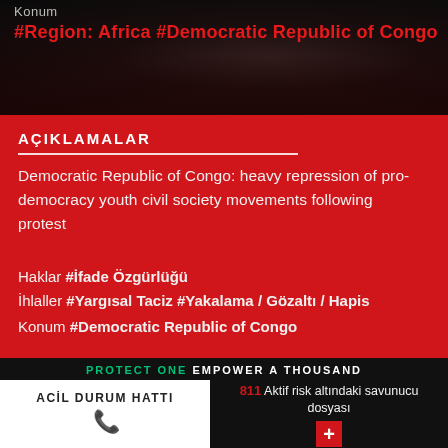[Figure (photo): Crowd protest scene with dark overlay, people visible in background]
Konum
#Region: Africa #Democratic Republic of Congo
AÇIKLAMALAR
Democratic Republic of Congo: heavy repression of pro-democracy youth civil society movements following protest
Haklar #İfade Özgürlüğü
İhlaller #Yargısal Taciz #Yakalama / Gözaltı / Hapis
Konum #Democratic Republic of Congo
ACİL DURUM HATTI
811 Aktif risk altındaki savunucu dosyası
PROTECT ONE EMPOWER A THOUSAND